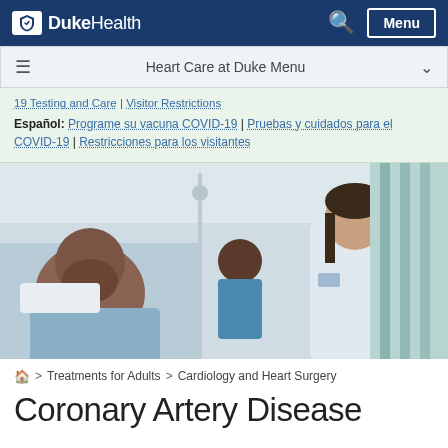DukeHealth — Menu
Heart Care at Duke Menu
19 Testing and Care | Visitor Restrictions
Español: Programe su vacuna COVID-19 | Pruebas y cuidados para el COVID-19 | Restricciones para los visitantes
[Figure (photo): A patient lying in a hospital bed looking up at two medical professionals, one wearing a white lab coat, in a clinical setting.]
🏠 > Treatments for Adults > Cardiology and Heart Surgery
Coronary Artery Disease